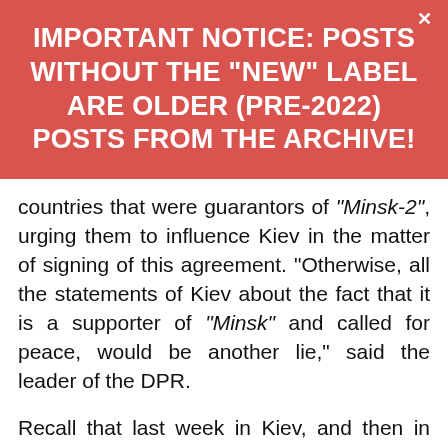IMPORTANT NOTICE: POSTS WITHOUT THE "NEW" LABEL ARE OLDER (PRE-2022) POSTS FROM THE ARCHIVE!
countries that were guarantors of “Minsk-2”, urging them to influence Kiev in the matter of signing of this agreement. “Otherwise, all the statements of Kiev about the fact that it is a supporter of “Minsk” and called for peace, would be another lie,” said the leader of the DPR.
Recall that last week in Kiev, and then in Donbass the Foreign Ministers of Germany and France Frank-Walter Steinmeier and Jean-Marc Ayrault visited, after which the “road map” for implementation of the Minsk